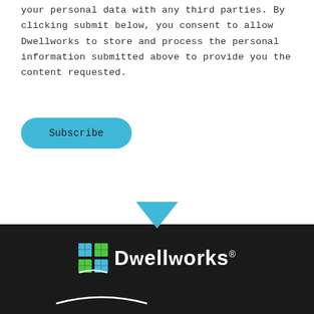your personal data with any third parties. By clicking submit below, you consent to allow Dwellworks to store and process the personal information submitted above to provide you the content requested.
[Figure (other): A teal/blue rounded rectangle Subscribe button]
[Figure (logo): Dwellworks logo on dark background with blue downward chevron pointing to the logo area. Logo consists of a grid icon with colored squares and the text DWELLWORKS with registered trademark symbol.]